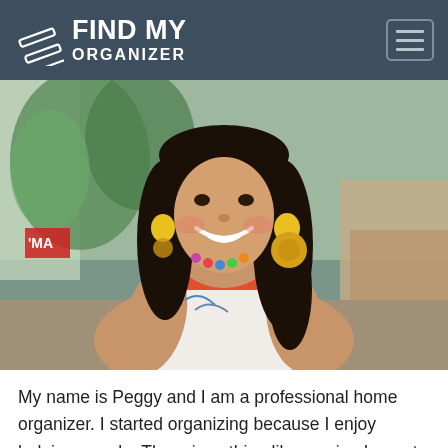FIND MY ORGANIZER
[Figure (photo): Smiling woman with dark curly hair, wearing a white sleeveless top, colorful necklace and large yellow earrings, photographed in an outdoor/indoor setting with greenery in the background.]
My name is Peggy and I am a professional home organizer. I started organizing because I enjoy helping people. There is nothing like coming home to